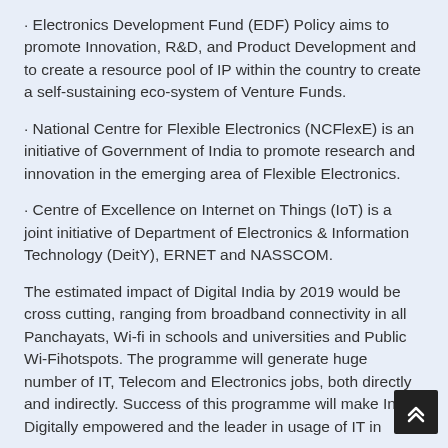· Electronics Development Fund (EDF) Policy aims to promote Innovation, R&D, and Product Development and to create a resource pool of IP within the country to create a self-sustaining eco-system of Venture Funds.
· National Centre for Flexible Electronics (NCFlexE) is an initiative of Government of India to promote research and innovation in the emerging area of Flexible Electronics.
· Centre of Excellence on Internet on Things (IoT) is a joint initiative of Department of Electronics & Information Technology (DeitY), ERNET and NASSCOM.
The estimated impact of Digital India by 2019 would be cross cutting, ranging from broadband connectivity in all Panchayats, Wi-fi in schools and universities and Public Wi-Fihotspots. The programme will generate huge number of IT, Telecom and Electronics jobs, both directly and indirectly. Success of this programme will make India Digitally empowered and the leader in usage of IT in